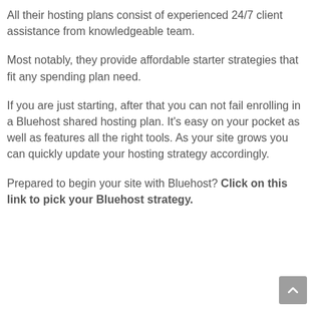All their hosting plans consist of experienced 24/7 client assistance from knowledgeable team.
Most notably, they provide affordable starter strategies that fit any spending plan need.
If you are just starting, after that you can not fail enrolling in a Bluehost shared hosting plan. It's easy on your pocket as well as features all the right tools. As your site grows you can quickly update your hosting strategy accordingly.
Prepared to begin your site with Bluehost? Click on this link to pick your Bluehost strategy.